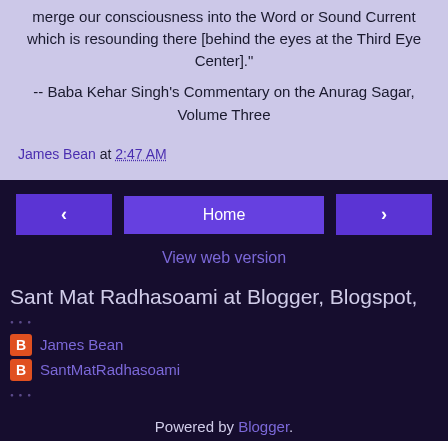merge our consciousness into the Word or Sound Current which is resounding there [behind the eyes at the Third Eye Center]."
-- Baba Kehar Singh's Commentary on the Anurag Sagar, Volume Three
James Bean at 2:47 AM
‹  Home  ›  View web version
Sant Mat Radhasoami at Blogger, Blogspot,
James Bean
SantMatRadhasoami
Powered by Blogger.